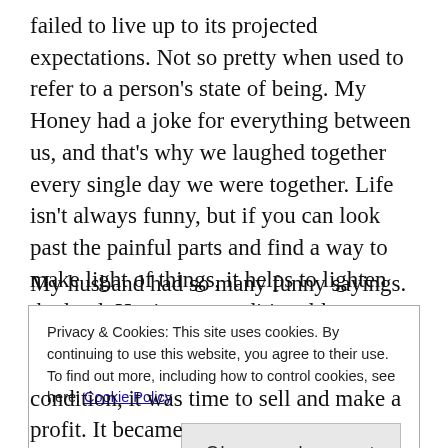failed to live up to its projected expectations. Not so pretty when used to refer to a person's state of being. My Honey had a joke for everything between us, and that's why we laughed together every single day we were together. Life isn't always funny, but if you can look past the painful parts and find a way to make light of things, it helps to lighten the load. Having unconditional love allows for such jokes, without that, a comment like that would sound abusive.
My husband had so many funny sayings. He was also
Privacy & Cookies: This site uses cookies. By continuing to use this website, you agree to their use.
To find out more, including how to control cookies, see here: Cookie Policy
condition, it was time to sell and make a profit. It became